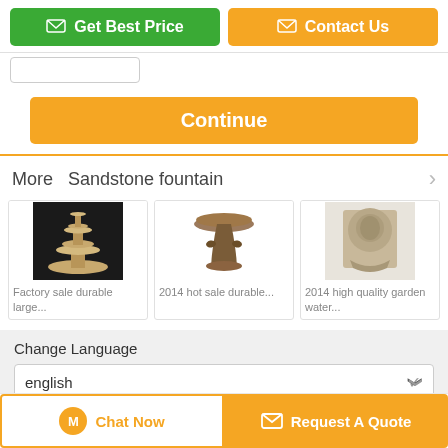[Figure (screenshot): Green 'Get Best Price' button and orange 'Contact Us' button at top]
[Figure (screenshot): Orange 'Continue' button below input field]
More  Sandstone fountain
[Figure (photo): Factory sale durable large sandstone fountain product image]
Factory sale durable large...
[Figure (photo): 2014 hot sale durable sandstone fountain product image]
2014 hot sale durable...
[Figure (photo): 2014 high quality garden water fountain product image]
2014 high quality garden water...
Change Language
english
[Figure (screenshot): Bottom bar with Chat Now and Request A Quote buttons]